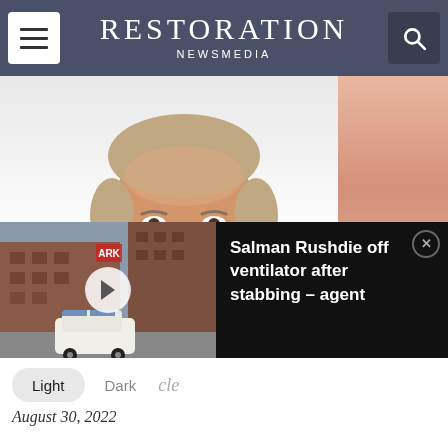RESTORATION NEWSMEDIA
[Figure (photo): Portrait photo of an older man with light hair smiling, wearing a blue shirt and red tie, white background. Right side has a salmon/peach colored panel.]
[Figure (screenshot): Video widget overlay showing a building exterior with a police car, play button visible. Adjacent black panel with text: Salman Rushdie off ventilator after stabbing – agent]
Salman Rushdie off ventilator after stabbing – agent
Light Dark cle
August 30, 2022